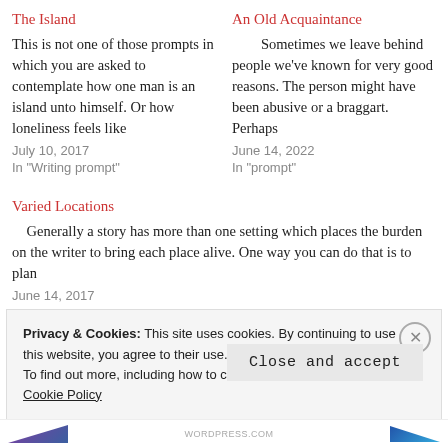The Island
This is not one of those prompts in which you are asked to contemplate how one man is an island unto himself. Or how loneliness feels like
July 10, 2017
In "Writing prompt"
An Old Acquaintance
Sometimes we leave behind people we've known for very good reasons. The person might have been abusive or a braggart. Perhaps
June 14, 2022
In "prompt"
Varied Locations
Generally a story has more than one setting which places the burden on the writer to bring each place alive. One way you can do that is to plan
June 14, 2017
Privacy & Cookies: This site uses cookies. By continuing to use this website, you agree to their use.
To find out more, including how to control cookies, see here: Cookie Policy
Close and accept